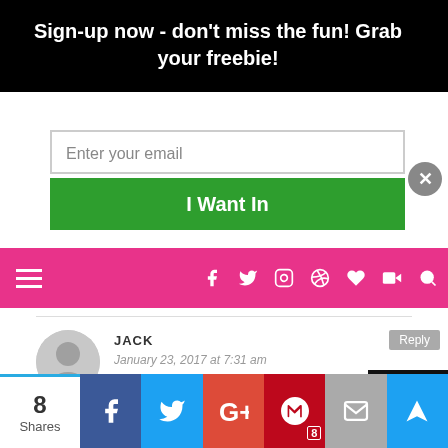Sign-up now - don't miss the fun! Grab your freebie!
Enter your email
I Want In
[Figure (screenshot): Pink navigation bar with hamburger menu icon on left and social media icons (Facebook, Twitter, Instagram, Pinterest, heart, YouTube) on right, plus search icon]
JACK
January 23, 2017 at 7:31 am
I couldn't resist commenting. Exceptionally well written!
8 Shares